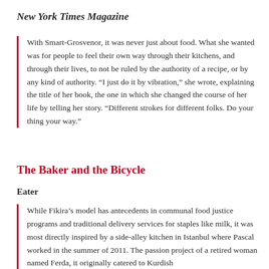New York Times Magazine
With Smart-Grosvenor, it was never just about food. What she wanted was for people to feel their own way through their kitchens, and through their lives, to not be ruled by the authority of a recipe, or by any kind of authority. “I just do it by vibration,” she wrote, explaining the title of her book, the one in which she changed the course of her life by telling her story. “Different strokes for different folks. Do your thing your way.”
The Baker and the Bicycle
Eater
While Fikira’s model has antecedents in communal food justice programs and traditional delivery services for staples like milk, it was most directly inspired by a side-alley kitchen in Istanbul where Pascal worked in the summer of 2011. The passion project of a retired woman named Ferda, it originally catered to Kurdish